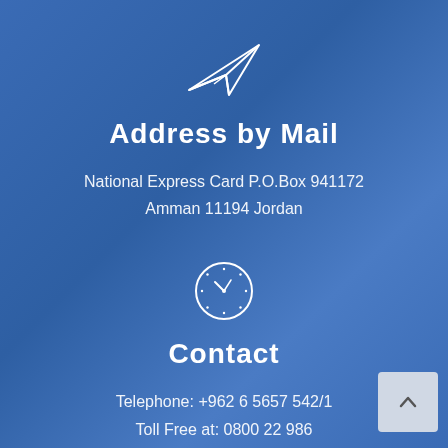[Figure (illustration): Paper plane icon (outline, white) centered at top]
Address by Mail
National Express Card P.O.Box 941172
Amman 11194 Jordan
[Figure (illustration): Clock icon (outline, white circle with clock face) centered]
Contact
Telephone: +962 6 5657 542/1
Toll Free at: 0800 22 986
Fax: 00962 6 5656831
E-mail: info@ne.jo